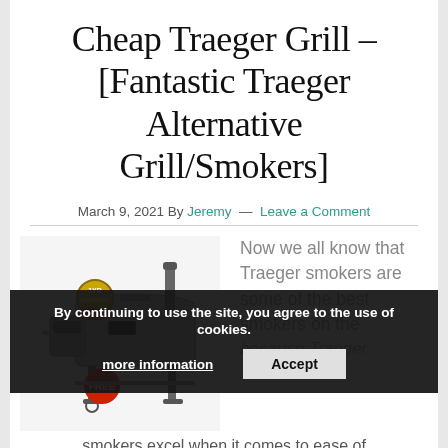Cheap Traeger Grill – [Fantastic Traeger Alternative Grill/Smokers]
March 9, 2021 By Jeremy — Leave a Comment
[Figure (photo): Product photo of a pellet grill/smoker with a warranty badge and a FREE label sticker]
Now we all know that Traeger smokers are some of the best smokers on the
because Traeger
smokers excel when it comes to ease of
By continuing to use the site, you agree to the use of cookies. more information  Accept